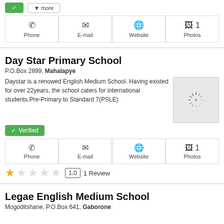[Figure (screenshot): Top bar with green button and outline button]
[Figure (infographic): Contact bar with Phone, E-mail, Website, Photos (1) icons]
Day Star Primary School
P.O.Box 2899, Mahalapye
Daystar is a renowed English Medium School. Having existed for over 22years, the school caters for international students.Pre-Primary to Standard 7(PSLE)
[Figure (photo): Loading spinner image placeholder]
✓ Verified
[Figure (infographic): Contact bar with Phone, E-mail, Website, Photos (1) icons]
1.0  1 Review
Legae English Medium School
Mogoditshane, P.O.Box 641, Gaborone